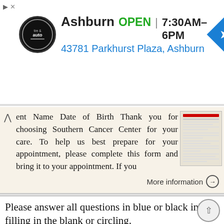[Figure (screenshot): Ad banner for Virginia Tire & Auto, Ashburn location. Shows logo, OPEN status, hours 7:30AM-6PM, address 43781 Parkhurst Plaza Ashburn, and navigation icon.]
ent Name Date of Birth Thank you for choosing Southern Cancer Center for your care. To help us best prepare for your appointment, please complete this form and bring it to your appointment. If you
More information →
Please answer all questions in blue or black ink by filling in the blank or circling.
SOCIAL HISTORY
PATIENT QUESTIONNAIRE / ASSESSMENT Endocrinology Form Please answer all questions in blue or black ink by filling in the blank or circling. SOCIAL HISTORY Date Phone (H) (W) (C) Age Male Female Marital